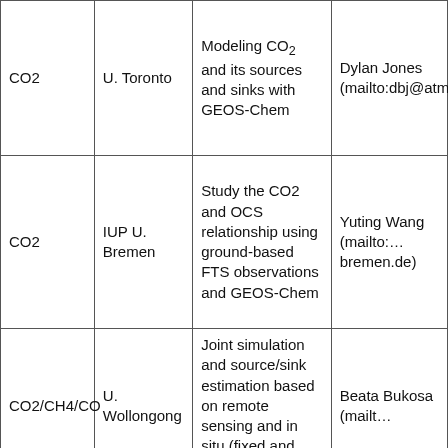| CO2 | U. Toronto | Modeling CO2 and its sources and sinks with GEOS-Chem | Dylan Jones (mailto:dbj@atmosp… |
| CO2 | IUP U. Bremen | Study the CO2 and OCS relationship using ground-based FTS observations and GEOS-Chem | Yuting Wang (mailto:…bremen.de) |
| CO2/CH4/CO | U. Wollongong | Joint simulation and source/sink estimation based on remote sensing and in situ (fixed and moving… | Beata Bukosa (mailt… |